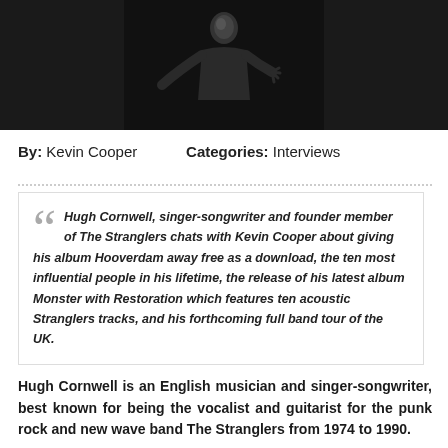[Figure (photo): Black and white photograph of a performer (Hugh Cornwell) on a dark background, appears to be on stage]
By: Kevin Cooper    Categories: Interviews
Hugh Cornwell, singer-songwriter and founder member of The Stranglers chats with Kevin Cooper about giving his album Hooverdam away free as a download, the ten most influential people in his lifetime, the release of his latest album Monster with Restoration which features ten acoustic Stranglers tracks, and his forthcoming full band tour of the UK.
Hugh Cornwell is an English musician and singer-songwriter, best known for being the vocalist and guitarist for the punk rock and new wave band The Stranglers from 1974 to 1990.